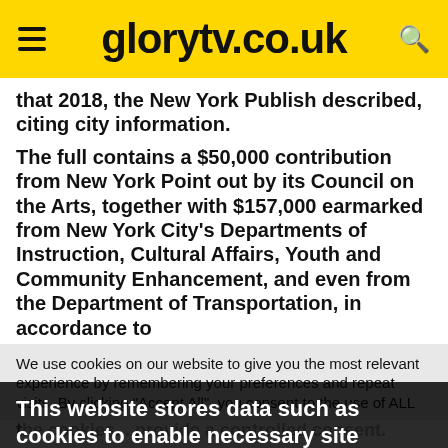glorytv.co.uk
that 2018, the New York Publish described, citing city information.
The full contains a $50,000 contribution from New York Point out by its Council on the Arts, together with $157,000 earmarked from New York City's Departments of Instruction, Cultural Affairs, Youth and Community Enhancement, and even from the Department of Transportation, in accordance to
We use cookies on our website to give you the most relevant experience by remembering your preferences and repeat visits. By clicking "Accept All", you consent to the use of ALL the cookies... provide a controlled consent.
This website stores data such as cookies to enable necessary site functionality, including analytics, targeting, and personalization. By remaining on this website you indicate your consent Cookie Policy